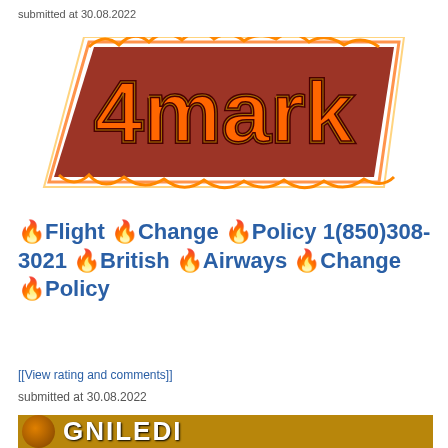submitted at 30.08.2022
[Figure (logo): 4mark logo with flame/fire stylized text on a dark red background tilted shape]
🔥Flight 🔥Change 🔥Policy 1(850)308-3021 🔥British 🔥Airways 🔥Change 🔥Policy
[[View rating and comments]]
submitted at 30.08.2022
[Figure (logo): Bottom partial banner with circular logo and bold text, golden/brown background]